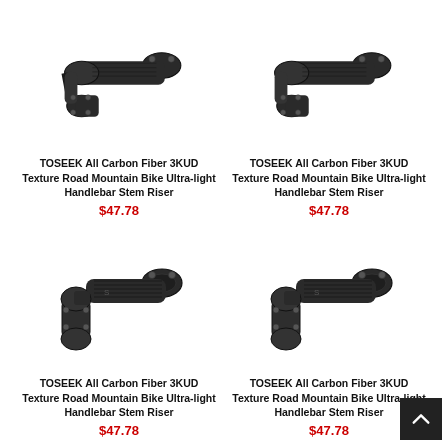[Figure (photo): TOSEEK All Carbon Fiber 3KUD Texture Road Mountain Bike handlebar stem riser product photo, top-left]
TOSEEK All Carbon Fiber 3KUD Texture Road Mountain Bike Ultra-light Handlebar Stem Riser
$47.78
[Figure (photo): TOSEEK All Carbon Fiber 3KUD Texture Road Mountain Bike handlebar stem riser product photo, top-right]
TOSEEK All Carbon Fiber 3KUD Texture Road Mountain Bike Ultra-light Handlebar Stem Riser
$47.78
[Figure (photo): TOSEEK All Carbon Fiber 3KUD Texture Road Mountain Bike handlebar stem riser product photo, bottom-left]
TOSEEK All Carbon Fiber 3KUD Texture Road Mountain Bike Ultra-light Handlebar Stem Riser
$47.78
[Figure (photo): TOSEEK All Carbon Fiber 3KUD Texture Road Mountain Bike handlebar stem riser product photo, bottom-right]
TOSEEK All Carbon Fiber 3KUD Texture Road Mountain Bike Ultra-light Handlebar Stem Riser
$47.78